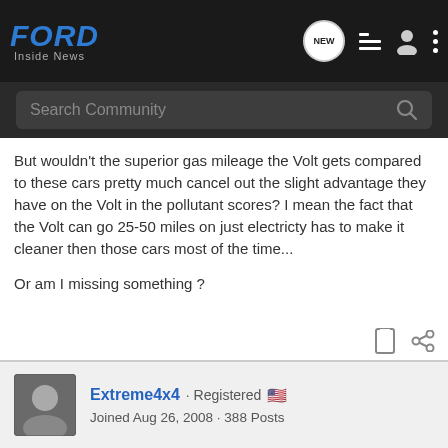FORD Inside News
But wouldn't the superior gas mileage the Volt gets compared to these cars pretty much cancel out the slight advantage they have on the Volt in the pollutant scores? I mean the fact that the Volt can go 25-50 miles on just electricty has to make it cleaner then those cars most of the time...

Or am I missing something ?
Extreme4x4 · Registered
Joined Aug 26, 2008 · 388 Posts